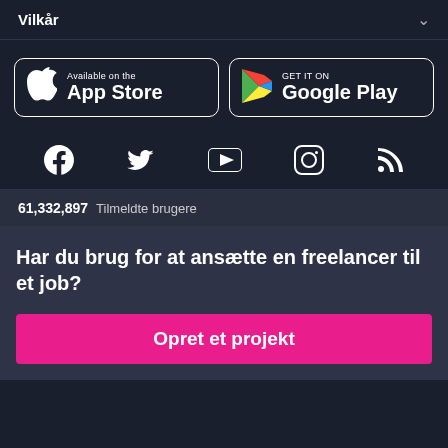Vilkår
[Figure (other): App Store and Google Play store download buttons]
[Figure (other): Social media icons: Facebook, Twitter, YouTube, Instagram, RSS]
61,332,897  Tilmeldte brugere
Har du brug for at ansætte en freelancer til et job?
Opret et projekt